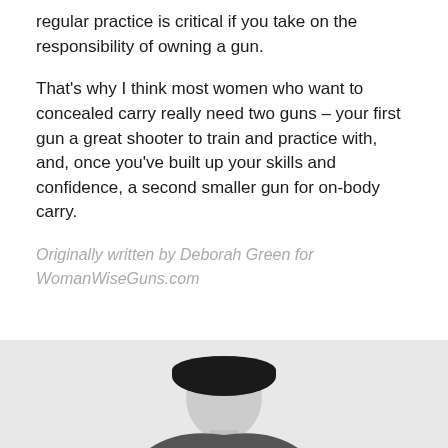regular practice is critical if you take on the responsibility of owning a gun.
That's why I think most women who want to concealed carry really need two guns – your first gun a great shooter to train and practice with, and, once you've built up your skills and confidence, a second smaller gun for on-body carry.
Originally written by Deborah Green for WomanWiseGuns.com
[Figure (photo): Partial photo at bottom of page showing a person wearing a dark hat, black and white image, cropped to show top of head and shoulders]